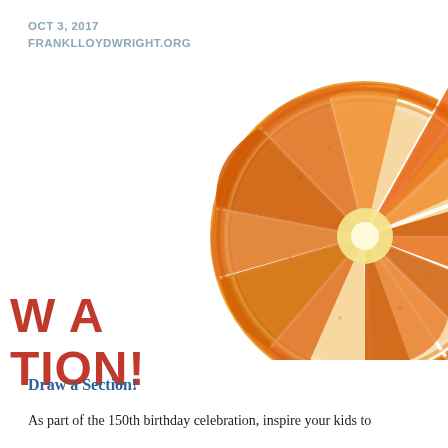OCT 3, 2017
FRANKLLOYDWRIGHT.ORG
[Figure (illustration): Crayon drawing of a sliced orange cross-section, showing segments in orange, red, and yellow tones, viewed from above, partially visible from the right side of the image area.]
W A
TION!
Draw a Section!
As part of the 150th birthday celebration, inspire your kids to